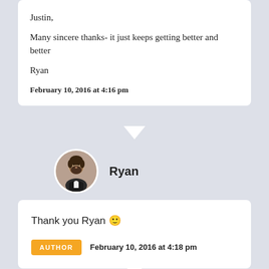Justin,

Many sincere thanks- it just keeps getting better and better

Ryan
February 10, 2016 at 4:16 pm
Ryan
Thank you Ryan 🙂
AUTHOR  February 10, 2016 at 4:18 pm